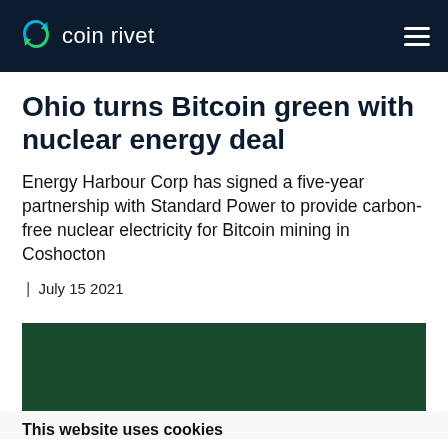coin rivet
Ohio turns Bitcoin green with nuclear energy deal
Energy Harbour Corp has signed a five-year partnership with Standard Power to provide carbon-free nuclear electricity for Bitcoin mining in Coshocton
| July 15 2021
[Figure (photo): Dark green banner image placeholder]
This website uses cookies